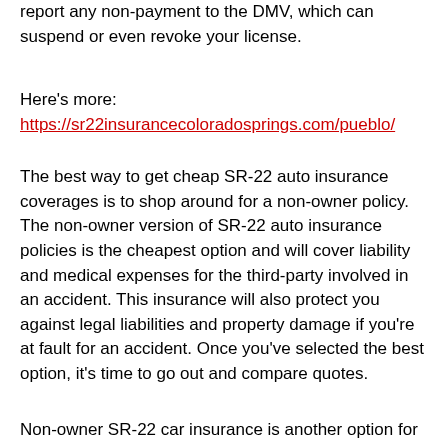report any non-payment to the DMV, which can suspend or even revoke your license.
Here's more:
https://sr22insurancecoloradosprings.com/pueblo/
The best way to get cheap SR-22 auto insurance coverages is to shop around for a non-owner policy. The non-owner version of SR-22 auto insurance policies is the cheapest option and will cover liability and medical expenses for the third-party involved in an accident. This insurance will also protect you against legal liabilities and property damage if you're at fault for an accident. Once you've selected the best option, it's time to go out and compare quotes.
Non-owner SR-22 car insurance is another option for